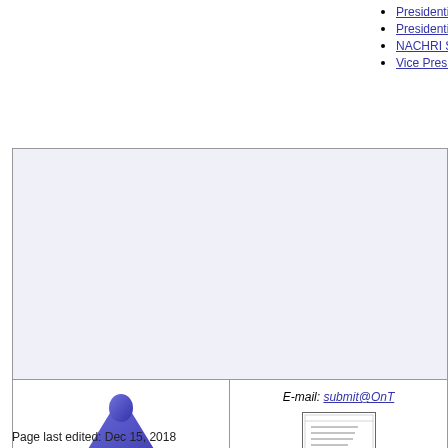Presidential debate, Was...
Presidential debate, Wak...
NACHRI Survey: Iowa C...
Vice Presidential debate...
[Figure (logo): OTI logo with blue triangle/dome and text 'Every Political Leader on Every Issue']
All material copyright 1999-2022 by Jesse Gordon and OnTheIssues.org Reprinting by permission only.
E-mail: submit@OnT...
[Figure (illustration): Small envelope/document icon]
Send donations or subm... OnTheIssue... 1770 Massachusett... Cambridge, MA...
Most recent quotations
Archive of books a...
Page last edited: Dec 15, 2018